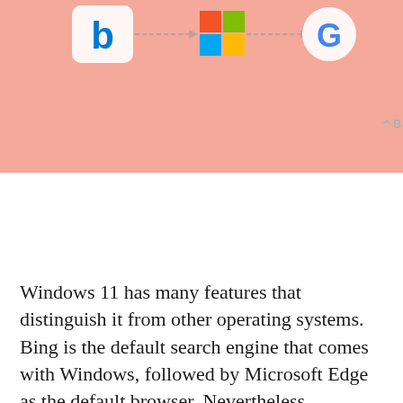[Figure (illustration): Pink background illustration showing Bing logo (b), dashed arrow, Windows logo (colored grid), dashed arrow, and Google logo (G). Small DB icon in bottom-right area.]
Windows 11 has many features that distinguish it from other operating systems. Bing is the default search engine that comes with Windows, followed by Microsoft Edge as the default browser. Nevertheless, Microsoft allows its users to change the default search engine, also according to their needs.